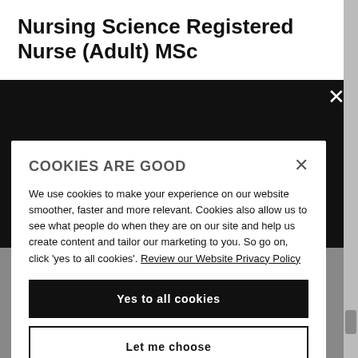Nursing Science Registered Nurse (Adult) MSc
Applications are now closed for
COOKIES ARE GOOD
We use cookies to make your experience on our website smoother, faster and more relevant. Cookies also allow us to see what people do when they are on our site and help us create content and tailor our marketing to you. So go on, click 'yes to all cookies'. Review our Website Privacy Policy
Yes to all cookies
Let me choose